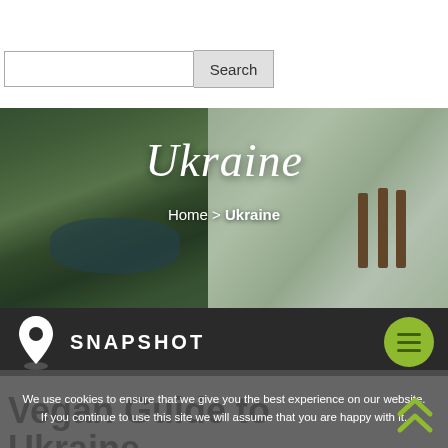[Figure (screenshot): Search bar with text input field and Search button]
[Figure (photo): Hero banner image showing a snowy winter forest scene with Ukraine script title and Home > Ukraine breadcrumb]
SNAPSHOT
We use cookies to ensure that we give you the best experience on our website. If you continue to use this site we will assume that you are happy with it.
Vegan Guide to Ukraine